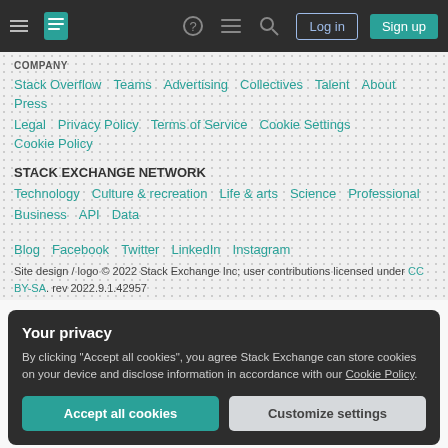Stack Exchange navigation bar with hamburger menu, logo, icons, Log in and Sign up buttons
COMPANY
Stack Overflow · Teams · Advertising · Collectives · Talent · About · Press
Legal · Privacy Policy · Terms of Service · Cookie Settings · Cookie Policy
STACK EXCHANGE NETWORK
Technology · Culture & recreation · Life & arts · Science · Professional
Business · API · Data
Blog · Facebook · Twitter · LinkedIn · Instagram
Site design / logo © 2022 Stack Exchange Inc; user contributions licensed under CC BY-SA. rev 2022.9.1.42957
Your privacy
By clicking "Accept all cookies", you agree Stack Exchange can store cookies on your device and disclose information in accordance with our Cookie Policy.
Accept all cookies | Customize settings